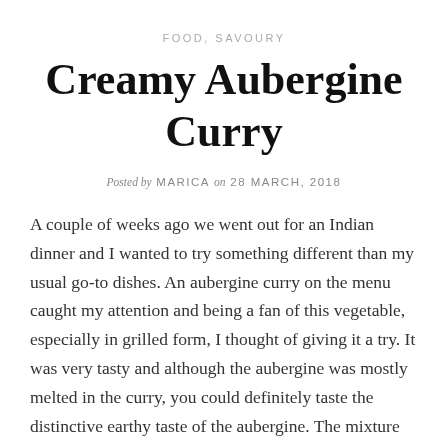FOOD, SAVOURY
Creamy Aubergine Curry
Posted by MARICA on 28 MARCH, 2018
A couple of weeks ago we went out for an Indian dinner and I wanted to try something different than my usual go-to dishes. An aubergine curry on the menu caught my attention and being a fan of this vegetable, especially in grilled form, I thought of giving it a try. It was very tasty and although the aubergine was mostly melted in the curry, you could definitely taste the distinctive earthy taste of the aubergine. The mixture of spices used definitely oomph'd the dish and my taste